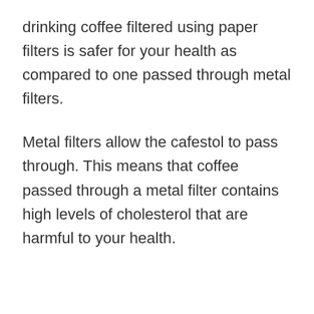drinking coffee filtered using paper filters is safer for your health as compared to one passed through metal filters.
Metal filters allow the cafestol to pass through. This means that coffee passed through a metal filter contains high levels of cholesterol that are harmful to your health.